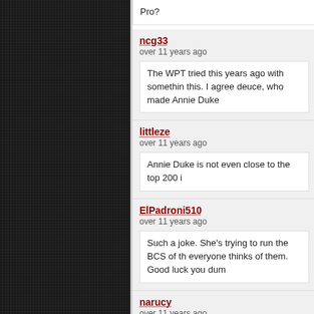Pro?
ncg33
over 11 years ago
The WPT tried this years ago with somethin this. I agree deuce, who made Annie Duke
littleze
over 11 years ago
Annie Duke is not even close to the top 200 i
ElPadroni510
over 11 years ago
Such a joke. She's trying to run the BCS of th everyone thinks of them. Good luck you dum
narucy
over 11 years ago
Don't need poker pro licence, this game is no Poker pro defalcation is simple, play and win

I hate WSOP 2010 Tournament of Champion where from 1 million prize?